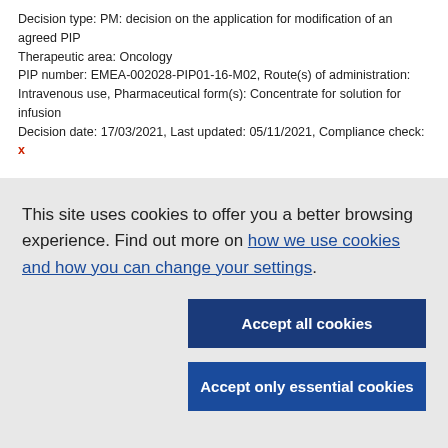Decision type: PM: decision on the application for modification of an agreed PIP
Therapeutic area: Oncology
PIP number: EMEA-002028-PIP01-16-M02, Route(s) of administration: Intravenous use, Pharmaceutical form(s): Concentrate for solution for infusion
Decision date: 17/03/2021, Last updated: 05/11/2021, Compliance check: x
This site uses cookies to offer you a better browsing experience. Find out more on how we use cookies and how you can change your settings.
Accept all cookies
Accept only essential cookies